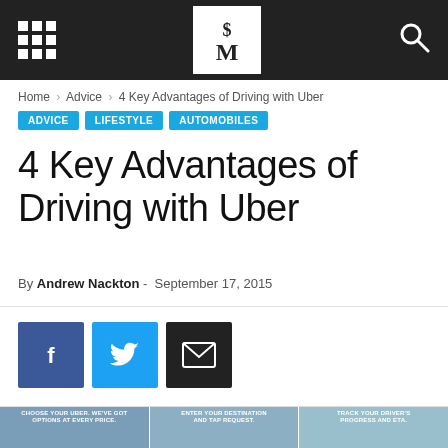SM (logo) — navigation header bar
Home › Advice › 4 Key Advantages of Driving with Uber
ADVICE  LIFESTYLE  AUTOMOBILES
4 Key Advantages of Driving with Uber
By Andrew Nackton - September 17, 2015
[Figure (screenshot): Social share buttons: Facebook (blue), Twitter (light blue), Email (dark/black)]
[Figure (screenshot): Three Uber app screenshots on phones: 'Choose your Uber. We've got options at every price.', 'Enter your destination and tap request.', 'Track your driver's progress and ETA.']